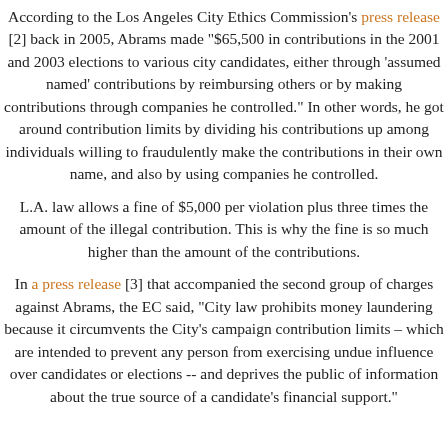According to the Los Angeles City Ethics Commission's press release [2] back in 2005, Abrams made "$65,500 in contributions in the 2001 and 2003 elections to various city candidates, either through 'assumed named' contributions by reimbursing others or by making contributions through companies he controlled." In other words, he got around contribution limits by dividing his contributions up among individuals willing to fraudulently make the contributions in their own name, and also by using companies he controlled.
L.A. law allows a fine of $5,000 per violation plus three times the amount of the illegal contribution. This is why the fine is so much higher than the amount of the contributions.
In a press release [3] that accompanied the second group of charges against Abrams, the EC said, "City law prohibits money laundering because it circumvents the City's campaign contribution limits – which are intended to prevent any person from exercising undue influence over candidates or elections -- and deprives the public of information about the true source of a candidate's financial support."